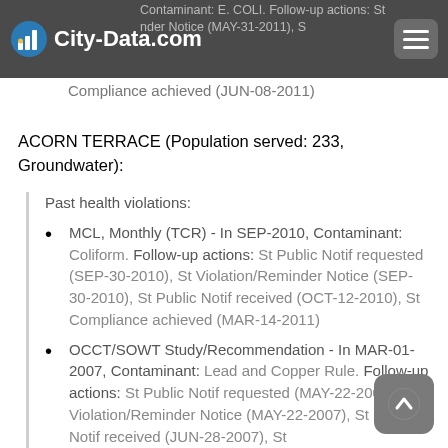City-Data.com
Contaminant: E. COLI. Follow-up actions: St... der Notice (MAY-31-2011), S... Compliance achieved (JUN-08-2011)
ACORN TERRACE (Population served: 233, Groundwater):
Past health violations:
MCL, Monthly (TCR) - In SEP-2010, Contaminant: Coliform. Follow-up actions: St Public Notif requested (SEP-30-2010), St Violation/Reminder Notice (SEP-30-2010), St Public Notif received (OCT-12-2010), St Compliance achieved (MAR-14-2011)
OCCT/SOWT Study/Recommendation - In MAR-01-2007, Contaminant: Lead and Copper Rule. Follow-up actions: St Public Notif requested (MAY-22-2007), St Violation/Reminder Notice (MAY-22-2007), St Public Notif received (JUN-28-2007), St